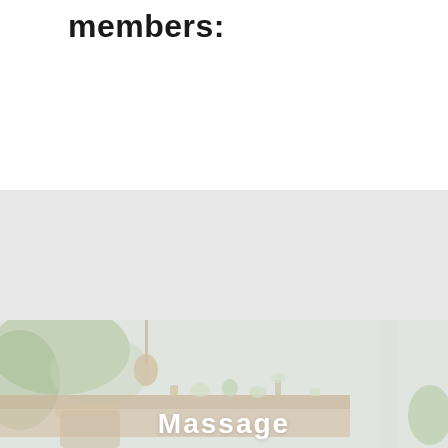members:
[Figure (photo): Blurred interior photo of a massage/spa room with wooden shelving, plants, decorative items, and a chair. White walls and soft natural light.]
Massage